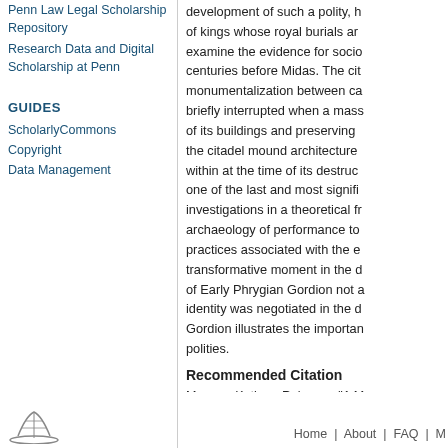Penn Law Legal Scholarship Repository
Research Data and Digital Scholarship at Penn
GUIDES
ScholarlyCommons
Copyright
Data Management
development of such a polity, h of kings whose royal burials a examine the evidence for soci centuries before Midas. The ci monumentalization between ca briefly interrupted when a mas of its buildings and preserving the citadel mound architecture within at the time of its destru one of the last and most signifi investigations in a theoretical f archaeology of performance to practices associated with the e transformative moment in the d of Early Phrygian Gordion not identity was negotiated in the d Gordion illustrates the importan polities.
Recommended Citation
Morgan, Kathryn Rebecca, "A Mo At Early Phrygian Gordion" (2018 https://repository.upenn.edu/ediss
Home | About | FAQ | M